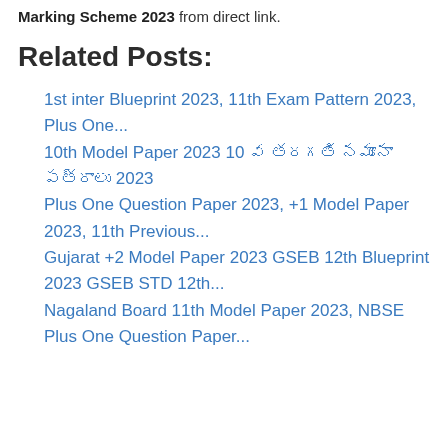Marking Scheme 2023 from direct link.
Related Posts:
1st inter Blueprint 2023, 11th Exam Pattern 2023, Plus One...
10th Model Paper 2023 10 వ తరగతి నమూనా పత్రాలు 2023
Plus One Question Paper 2023, +1 Model Paper 2023, 11th Previous...
Gujarat +2 Model Paper 2023 GSEB 12th Blueprint 2023 GSEB STD 12th...
Nagaland Board 11th Model Paper 2023, NBSE Plus One Question Paper...